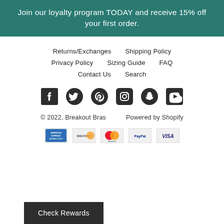Join our loyalty program TODAY and receive 15% off your first order.
Returns/Exchanges
Shipping Policy
Privacy Policy
Sizing Guide
FAQ
Contact Us
Search
[Figure (infographic): Social media icons: Facebook, Twitter, Pinterest, Instagram, Snapchat, YouTube]
© 2022, Breakout Bras    Powered by Shopify
[Figure (infographic): Payment method logos: American Express, Discover, Mastercard, PayPal, Visa]
Check Rewards